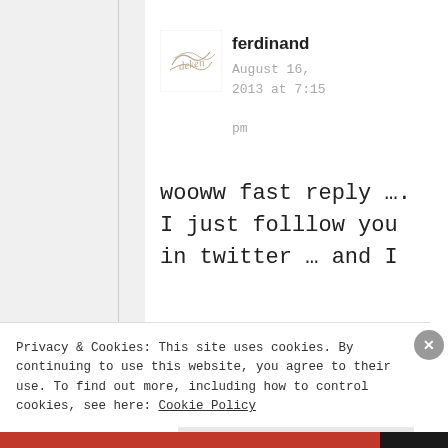[Figure (illustration): Cursive/script signature avatar image for user 'ferdinand']
ferdinand
August 16, 2013 at 7:15 pm
wooww fast reply ….
I just folllow you
in twitter … and I
Privacy & Cookies: This site uses cookies. By continuing to use this website, you agree to their use. To find out more, including how to control cookies, see here: Cookie Policy
Close and accept